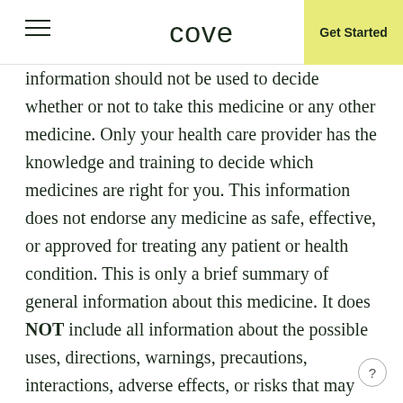cove | Get Started
information should not be used to decide whether or not to take this medicine or any other medicine. Only your health care provider has the knowledge and training to decide which medicines are right for you. This information does not endorse any medicine as safe, effective, or approved for treating any patient or health condition. This is only a brief summary of general information about this medicine. It does NOT include all information about the possible uses, directions, warnings, precautions, interactions, adverse effects, or risks that may apply to this medicine. This information is not specific medical advice and does not replace information you receive from your health care provider. You must talk with your healthcare provider for complete information about the risks and benefits of using this medicine.